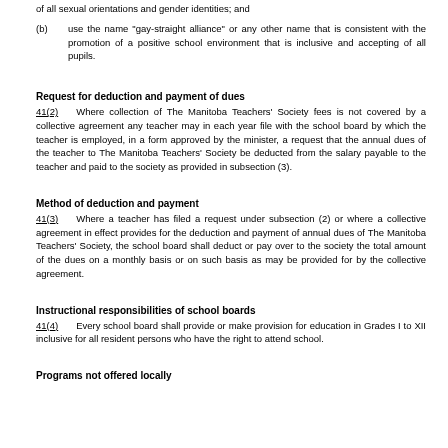(b) use the name "gay-straight alliance" or any other name that is consistent with the promotion of a positive school environment that is inclusive and accepting of all pupils.
Request for deduction and payment of dues
41(2)   Where collection of The Manitoba Teachers' Society fees is not covered by a collective agreement any teacher may in each year file with the school board by which the teacher is employed, in a form approved by the minister, a request that the annual dues of the teacher to The Manitoba Teachers' Society be deducted from the salary payable to the teacher and paid to the society as provided in subsection (3).
Method of deduction and payment
41(3)   Where a teacher has filed a request under subsection (2) or where a collective agreement in effect provides for the deduction and payment of annual dues of The Manitoba Teachers' Society, the school board shall deduct or pay over to the society the total amount of the dues on a monthly basis or on such basis as may be provided for by the collective agreement.
Instructional responsibilities of school boards
41(4)   Every school board shall provide or make provision for education in Grades I to XII inclusive for all resident persons who have the right to attend school.
Programs not offered locally